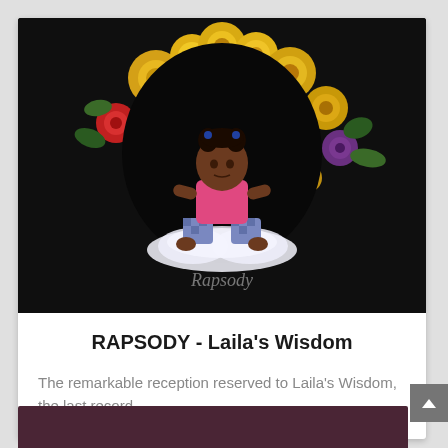[Figure (photo): Album cover art for Rapsody's Laila's Wisdom. A young Black girl in a pink top and checkered pants sits cross-legged on a cloud, surrounded by a wreath of colorful flowers including yellow, red, and purple blooms, against a dark black background. The artist name 'Rapsody' appears in cursive script at the bottom of the image.]
RAPSODY - Laila's Wisdom
The remarkable reception reserved to Laila's Wisdom, the last record ...